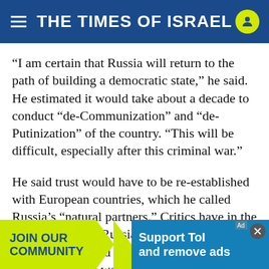THE TIMES OF ISRAEL
“I am certain that Russia will return to the path of building a democratic state,” he said. He estimated it would take about a decade to conduct “de-Communization” and “de-Putinization” of the country. “This will be difficult, especially after this criminal war.”
He said trust would have to be re-established with European countries, which he called Russia’s “natural partners.” Critics have in the past accused the Russian opposition of being hopelessly divided but Kasyanov said he was confident things would now b…
[Figure (other): Advertisement banner: JOIN OUR COMMUNITY | Support ToI and remove ads]